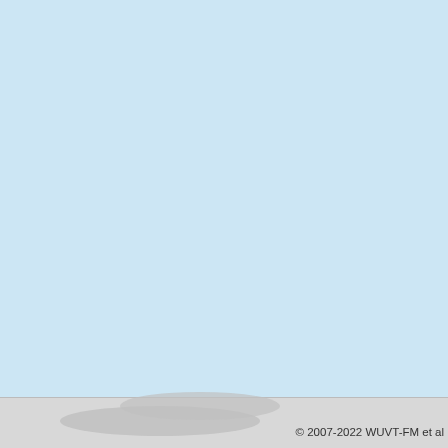| Time |  | Artist |
| --- | --- | --- |
| 21:48:27 |  | The Art Of Noise |
| 21:58:46 |  | Mr. Kitty |
| 22:03:06 |  | Underworld |
| 22:12:26 |  | Pet Shop Boys |
| 22:16:46 |  | Doldrums |
| 22:20:36 |  | Various |
| 22:24:25 |  | Squarepusher |
| 22:30:36 |  | Oval |
| 22:33:25 |  | SOPHIE |
| 22:36:27 | 🔥 | FKA Twigs |
| 22:41:00 |  | Mouse on Mars |
| 22:50:20 |  | Iris |
| 22:55:37 |  | To Rococo Rot |
© 2007-2022 WUVT-FM et al